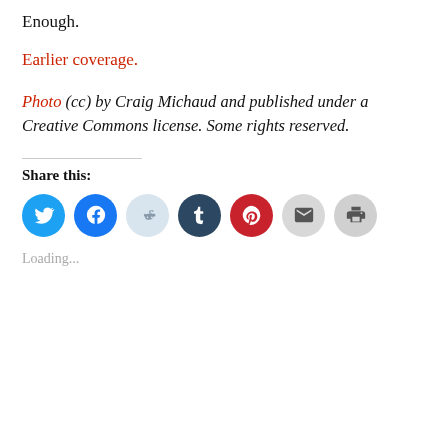Enough.
Earlier coverage.
Photo (cc) by Craig Michaud and published under a Creative Commons license. Some rights reserved.
Share this:
[Figure (infographic): Row of social sharing icon buttons: Twitter (blue), Facebook (blue), Reddit (light blue), Tumblr (dark navy), Pinterest (red), Email (light gray), Print (light gray)]
Loading...